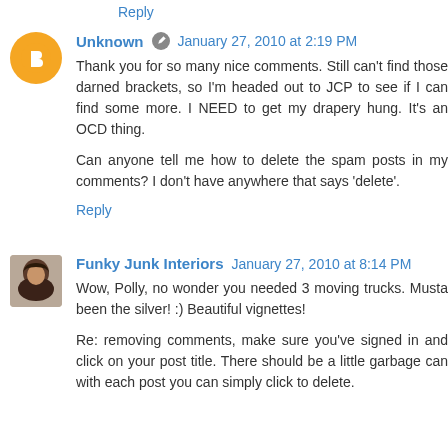Reply
Unknown · January 27, 2010 at 2:19 PM
Thank you for so many nice comments. Still can't find those darned brackets, so I'm headed out to JCP to see if I can find some more. I NEED to get my drapery hung. It's an OCD thing.

Can anyone tell me how to delete the spam posts in my comments? I don't have anywhere that says 'delete'.
Reply
Funky Junk Interiors January 27, 2010 at 8:14 PM
Wow, Polly, no wonder you needed 3 moving trucks. Musta been the silver! :) Beautiful vignettes!

Re: removing comments, make sure you've signed in and click on your post title. There should be a little garbage can with each post you can simply click to delete.